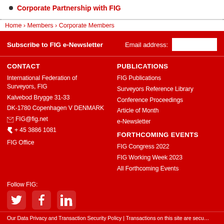Corporate Partnership with FIG
Home › Members › Corporate Members
Subscribe to FIG e-Newsletter
Email address:
CONTACT
International Federation of Surveyors, FIG
Kalvebod Brygge 31-33
DK-1780 Copenhagen V DENMARK
FIG@fig.net
+ 45 3886 1081
FIG Office
PUBLICATIONS
FIG Publications
Surveyors Reference Library
Conference Proceedings
Article of Month
e-Newsletter
FORTHCOMING EVENTS
FIG Congress 2022
FIG Working Week 2023
All Forthcoming Events
Follow FIG:
Our Data Privacy and Transaction Security Policy | Transactions on this site are secu...